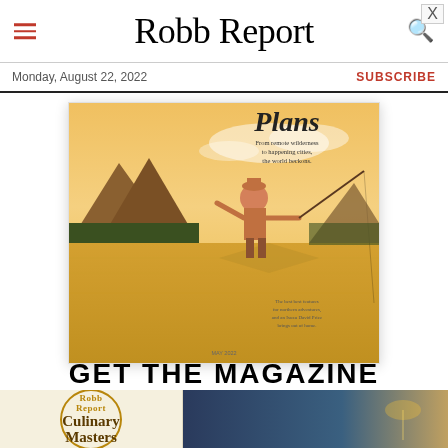Robb Report
Monday, August 22, 2022
SUBSCRIBE
[Figure (photo): Magazine cover of Robb Report showing a fisherman casting a line on a glassy lake with mountain and forest scenery in warm golden light. Text on cover reads 'Plans - From remote wilderness to happening cities, the world beckons.' Bottom text: 'The best best features for northern adventures, and an Isuzu David Price brings out of home.' Date: MAY 2022.]
GET THE MAGAZINE
[Figure (infographic): Advertisement bar showing two sections: left side shows Robb Report Culinary Masters logo in cream/gold circular emblem; right side shows a beach/ocean scene with 'LEARN MORE' button overlay. A close X button is visible at top right.]